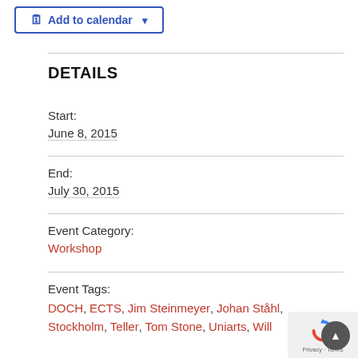Add to calendar
DETAILS
Start:
June 8, 2015
End:
July 30, 2015
Event Category:
Workshop
Event Tags:
DOCH, ECTS, Jim Steinmeyer, Johan Ståhl, Stockholm, Teller, Tom Stone, Uniarts, Will